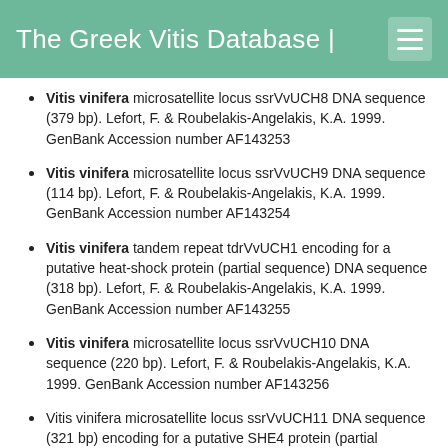The Greek Vitis Database |
Vitis vinifera microsatellite locus ssrVvUCH8 DNA sequence (379 bp). Lefort, F. & Roubelakis-Angelakis, K.A. 1999. GenBank Accession number AF143253
Vitis vinifera microsatellite locus ssrVvUCH9 DNA sequence (114 bp). Lefort, F. & Roubelakis-Angelakis, K.A. 1999. GenBank Accession number AF143254
Vitis vinifera tandem repeat tdrVvUCH1 encoding for a putative heat-shock protein (partial sequence) DNA sequence (318 bp). Lefort, F. & Roubelakis-Angelakis, K.A. 1999. GenBank Accession number AF143255
Vitis vinifera microsatellite locus ssrVvUCH10 DNA sequence (220 bp). Lefort, F. & Roubelakis-Angelakis, K.A. 1999. GenBank Accession number AF143256
Vitis vinifera microsatellite locus ssrVvUCH11 DNA sequence (321 bp) encoding for a putative SHE4 protein (partial sequence). Lefort, F. & Roubelakis-Angelakis, K.A. 1999. GenBank Accession number AF143257